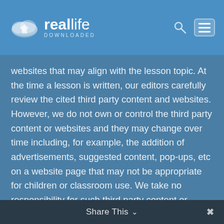[Figure (logo): Real Life Downloaded logo with cloud icon, wordmark 'reallife DOWNLOADED', search icon, and hamburger menu icon on blue header bar]
websites that may align with the lesson topic. At the time a lesson is written, our editors carefully review the cited third party content and websites. However, we do not own or control the third party content or websites and they may change over time including, for example, the addition of advertisements, suggested content, pop-ups, etc on a website page that may not be appropriate for children or classroom use. We take no responsibility for such third party content or websites or for your use of them, including your use of them in a lesson. Please review each cited content or website carefully before utilizing in a lesson.
Share This ∨  ✕